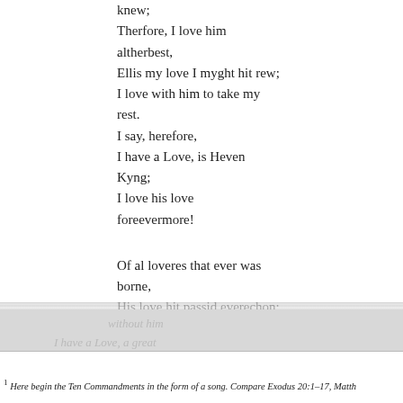knew;
Therfore, I love him altherbest,
Ellis my love I myght hit rew;
I love with him to take my rest.
    I say, herefore,
  I have a Love, is Heven Kyng;
    I love his love foreevermore!

Of al loveres that ever was borne,
His love hit passid everechon;
Nad he us lovyd, we were forelorne;
Without is love, trew love is
JOHN AUDELAY, CAR...
1 Here begin the Ten Commandments in the form of a song. Compare Exodus 20:1–17, Matth...